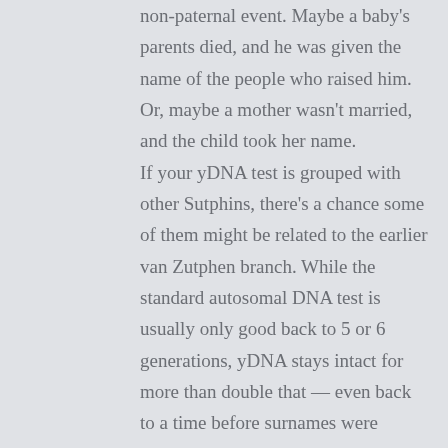non-paternal event. Maybe a baby's parents died, and he was given the name of the people who raised him. Or, maybe a mother wasn't married, and the child took her name. If your yDNA test is grouped with other Sutphins, there's a chance some of them might be related to the earlier van Zutphen branch. While the standard autosomal DNA test is usually only good back to 5 or 6 generations, yDNA stays intact for more than double that — even back to a time before surnames were standard. So, using yDNA, you have a better chance of finding a Sutphin cousin who branched off from